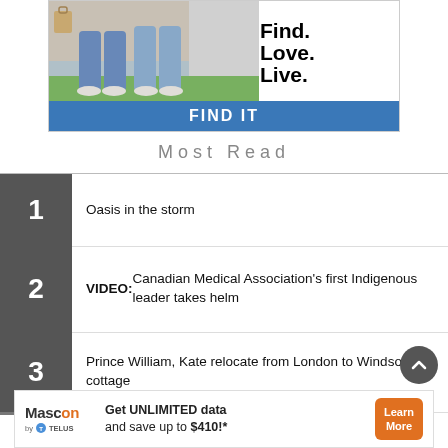[Figure (photo): Advertisement banner showing two people standing outside a home with text 'Find. Love. Live.' and a blue bar with 'FIND IT']
Most Read
1. Oasis in the storm
2. VIDEO: Canadian Medical Association’s first Indigenous leader takes helm
3. Prince William, Kate relocate from London to Windsor cottage
[Figure (infographic): Mascon by TELUS advertisement: 'Get UNLIMITED data and save up to $410!*' with Learn More orange button]